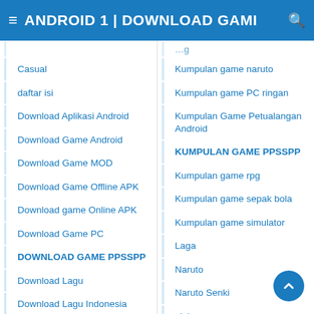≡ ANDROID 1 | DOWNLOAD GAMI 🔍
Casual
daftar isi
Download Aplikasi Android
Download Game Android
Download Game MOD
Download Game Offline APK
Download game Online APK
Download Game PC
DOWNLOAD GAME PPSSPP
Download Lagu
Download Lagu Indonesia
Download MOD Apk
Entertainment APK
Kumpulan game naruto
Kumpulan game PC ringan
Kumpulan Game Petualangan Android
KUMPULAN GAME PPSSPP
Kumpulan game rpg
Kumpulan game sepak bola
Kumpulan game simulator
Laga
Naruto
Naruto Senki
olahraga
Petualangan